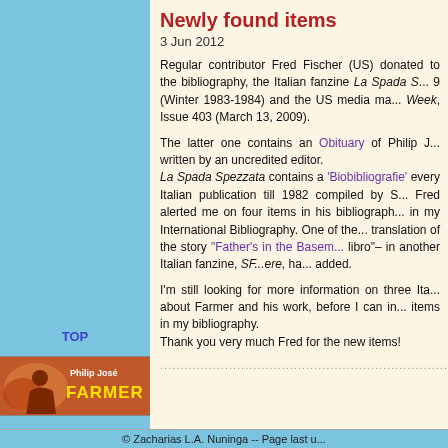Newly found items
3 Jun 2012
Regular contributor Fred Fischer (US) donated to the bibliography, the Italian fanzine La Spada S... 9 (Winter 1983-1984) and the US media magazine Week, Issue 403 (March 13, 2009).
The latter one contains an Obituary of Philip J... written by an uncredited editor. La Spada Spezzata contains a 'Biobibliografie' every Italian publication till 1982 compiled by ... Fred alerted me on four items in his bibliography in my International Bibliography. One of the translation of the story "Father's in the Basement" libro– in another Italian fanzine, SF...ere, has added.
I'm still looking for more information on three Italian items about Farmer and his work, before I can include items in my bibliography. Thank you very much Fred for the new items!
..............................................................................................................
TOP
[Figure (logo): Philip José Farmer logo/banner with orange and brown coloring]
© Zacharias L.A. Nuninga -- Page last u...